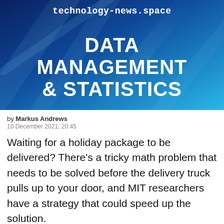[Figure (illustration): Blue gradient hero banner with diagonal light streaks, containing website name 'technology-news.space' at top and title 'DATA MANAGEMENT & STATISTICS' in large bold white text]
technology-news.space
DATA MANAGEMENT & STATISTICS
by Markus Andrews
10 December 2021, 20:45
Waiting for a holiday package to be delivered? There's a tricky math problem that needs to be solved before the delivery truck pulls up to your door, and MIT researchers have a strategy that could speed up the solution.
The approach applies to vehicle routing